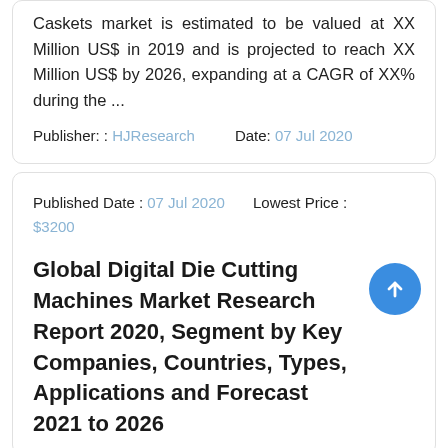Caskets market is estimated to be valued at XX Million US$ in 2019 and is projected to reach XX Million US$ by 2026, expanding at a CAGR of XX% during the ...
Publisher: : HJResearch    Date: 07 Jul 2020
Published Date : 07 Jul 2020    Lowest Price : $3200
Global Digital Die Cutting Machines Market Research Report 2020, Segment by Key Companies, Countries, Types, Applications and Forecast 2021 to 2026